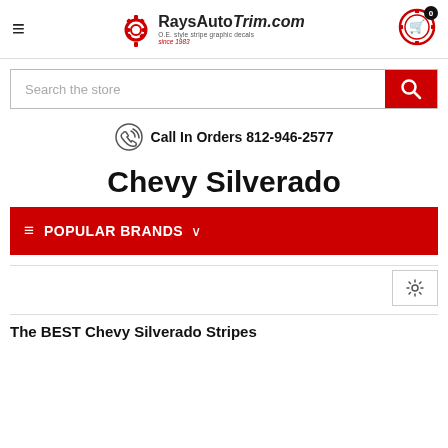[Figure (logo): RaysAutoTrim.com logo with gear icon, tagline: O.E. style stripe graphic decals since 1983]
[Figure (screenshot): Search bar with red search button and magnifying glass icon]
Call In Orders 812-946-2577
Chevy Silverado
POPULAR BRANDS
The BEST Chevy Silverado Stripes